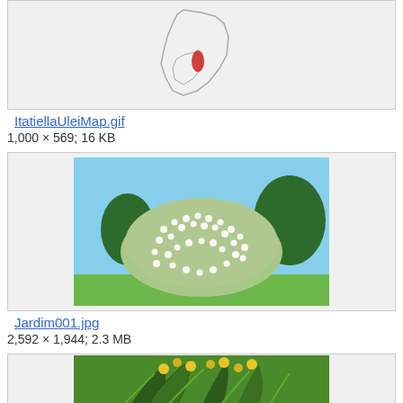[Figure (map): Map of South America with a red highlighted region in southeastern Brazil/Argentina area, on light gray background]
ItatiellaUleiMap.gif
1,000 × 569; 16 KB
[Figure (photo): Photo of a large flowering white shrub/bush in a garden setting against a blue sky]
Jardim001.jpg
2,592 × 1,944; 2.3 MB
[Figure (photo): Partial photo showing yellow flowers and green palm-like foliage]